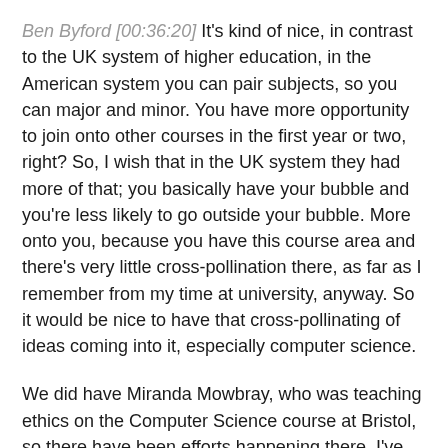Ben Byford [00:36:20] It's kind of nice, in contrast to the UK system of higher education, in the American system you can pair subjects, so you can major and minor. You have more opportunity to join onto other courses in the first year or two, right? So, I wish that in the UK system they had more of that; you basically have your bubble and you're less likely to go outside your bubble. More onto you, because you have this course area and there's very little cross-pollination there, as far as I remember from my time at university, anyway. So it would be nice to have that cross-pollinating of ideas coming into it, especially computer science.
We did have Miranda Mowbray, who was teaching ethics on the Computer Science course at Bristol, so there have been efforts happening there. I've heard of other anecdotal things going on, so that's really, really positive, but it is strange that you get taught these